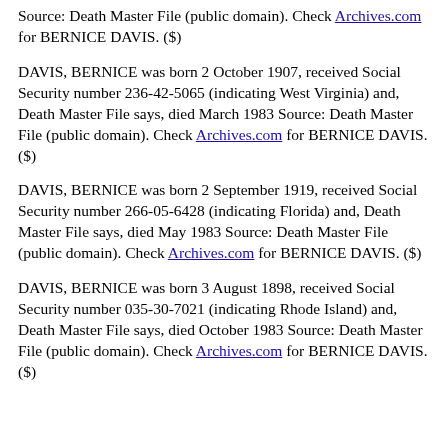Source: Death Master File (public domain). Check Archives.com for BERNICE DAVIS. ($)
DAVIS, BERNICE was born 2 October 1907, received Social Security number 236-42-5065 (indicating West Virginia) and, Death Master File says, died March 1983 Source: Death Master File (public domain). Check Archives.com for BERNICE DAVIS. ($)
DAVIS, BERNICE was born 2 September 1919, received Social Security number 266-05-6428 (indicating Florida) and, Death Master File says, died May 1983 Source: Death Master File (public domain). Check Archives.com for BERNICE DAVIS. ($)
DAVIS, BERNICE was born 3 August 1898, received Social Security number 035-30-7021 (indicating Rhode Island) and, Death Master File says, died October 1983 Source: Death Master File (public domain). Check Archives.com for BERNICE DAVIS. ($)